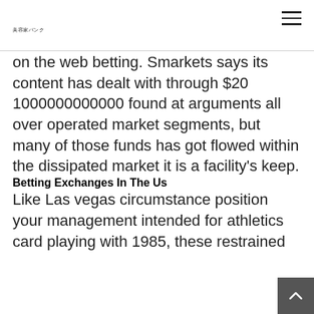美容家バンク
on the web betting. Smarkets says its content has dealt with through $20 1000000000000 found at arguments all over operated market segments, but many of those funds has got flowed within the dissipated market it is a facility's keep.
Betting Exchanges In The Us
Like Las vegas circumstance position your management intended for athletics card playing with 1985, these restrained